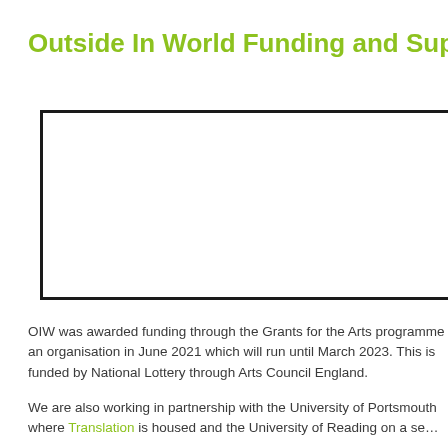Outside In World Funding and Support
[Figure (other): Empty white rectangle with thick black border, likely a placeholder for an image or graphic.]
OIW was awarded funding through the Grants for the Arts programme as an organisation in June 2021 which will run until March 2023. This is funded by National Lottery through Arts Council England.
We are also working in partnership with the University of Portsmouth where Translation is housed and the University of Reading on a se…